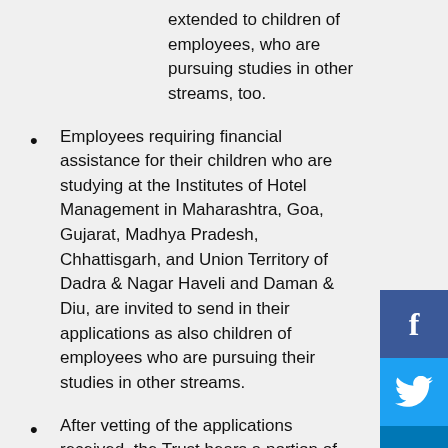extended to children of employees, who are pursuing studies in other streams, too.
Employees requiring financial assistance for their children who are studying at the Institutes of Hotel Management in Maharashtra, Goa, Gujarat, Madhya Pradesh, Chhattisgarh, and Union Territory of Dadra & Nagar Haveli and Daman & Diu, are invited to send in their applications as also children of employees who are pursuing their studies in other streams.
After vetting of the applications received, the Trust bears a portion of the amount of tuition fees, payable by